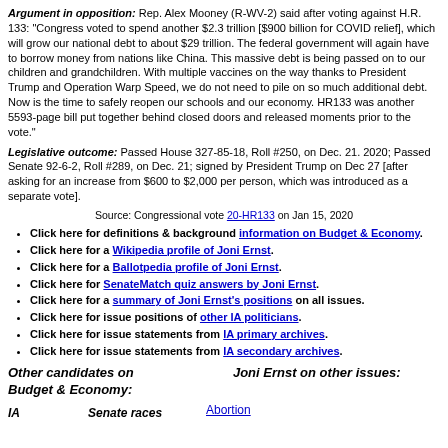Argument in opposition: Rep. Alex Mooney (R-WV-2) said after voting against H.R. 133: "Congress voted to spend another $2.3 trillion [$900 billion for COVID relief], which will grow our national debt to about $29 trillion. The federal government will again have to borrow money from nations like China. This massive debt is being passed on to our children and grandchildren. With multiple vaccines on the way thanks to President Trump and Operation Warp Speed, we do not need to pile on so much additional debt. Now is the time to safely reopen our schools and our economy. HR133 was another 5593-page bill put together behind closed doors and released moments prior to the vote."
Legislative outcome: Passed House 327-85-18, Roll #250, on Dec. 21. 2020; Passed Senate 92-6-2, Roll #289, on Dec. 21; signed by President Trump on Dec 27 [after asking for an increase from $600 to $2,000 per person, which was introduced as a separate vote].
Source: Congressional vote 20-HR133 on Jan 15, 2020
Click here for definitions & background information on Budget & Economy.
Click here for a Wikipedia profile of Joni Ernst.
Click here for a Ballotpedia profile of Joni Ernst.
Click here for SenateMatch quiz answers by Joni Ernst.
Click here for a summary of Joni Ernst's positions on all issues.
Click here for issue positions of other IA politicians.
Click here for issue statements from IA primary archives.
Click here for issue statements from IA secondary archives.
Other candidates on Budget & Economy:
Joni Ernst on other issues:
IA
Senate races
Abortion